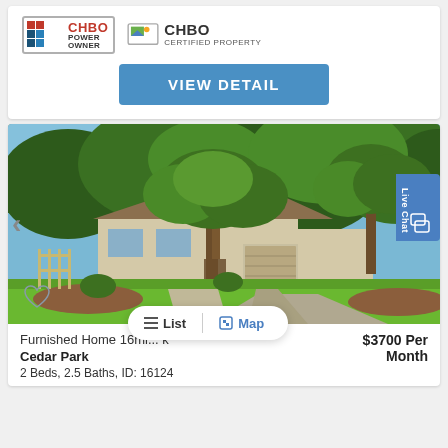[Figure (logo): CHBO Power Owner badge and CHBO Certified Property logo]
VIEW DETAIL
[Figure (photo): Exterior photo of furnished home with green lawn, large oak trees, two-story tan brick house with attached garage, concrete driveway, and landscaped garden beds]
Furnished Home 16mi... k
$3700 Per Month
Cedar Park
2 Beds, 2.5 Baths, ID: 16124